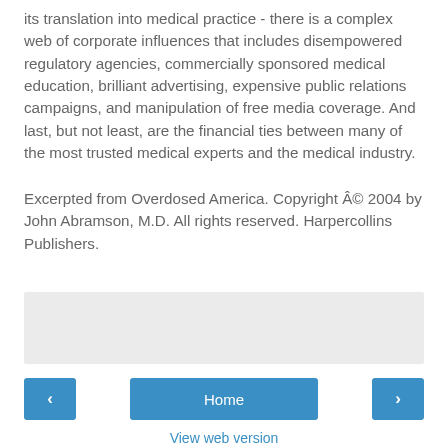its translation into medical practice - there is a complex web of corporate influences that includes disempowered regulatory agencies, commercially sponsored medical education, brilliant advertising, expensive public relations campaigns, and manipulation of free media coverage. And last, but not least, are the financial ties between many of the most trusted medical experts and the medical industry.
Excerpted from Overdosed America. Copyright © 2004 by John Abramson, M.D. All rights reserved. Harpercollins Publishers.
[Figure (other): Gray advertisement/placeholder box]
Home
View web version
Powered by Blogger.